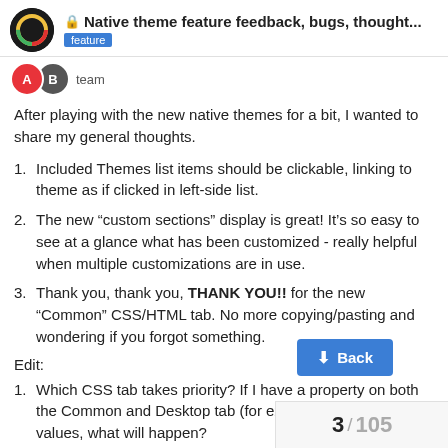Native theme feature feedback, bugs, thought... | feature
team
After playing with the new native themes for a bit, I wanted to share my general thoughts.
Included Themes list items should be clickable, linking to theme as if clicked in left-side list.
The new “custom sections” display is great! It’s so easy to see at a glance what has been customized - really helpful when multiple customizations are in use.
Thank you, thank you, THANK YOU!! for the new “Common” CSS/HTML tab. No more copying/pasting and wondering if you forgot something.
Edit:
Which CSS tab takes priority? If I have a property on both the Common and Desktop tab (for example) with different values, what will happen?